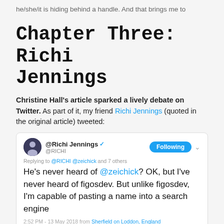he/she/it is hiding behind a handle. And that brings me to
Chapter Three: Richi Jennings
Christine Hall's article sparked a lively debate on Twitter. As part of it, my friend Richi Jennings (quoted in the original article) tweeted:
[Figure (screenshot): Tweet by @Richi Jennings (@RICHI) with verified badge, Following button. Replying to @RICHI @zeichick and 7 others. Tweet text: He's never heard of @zeichick? OK, but I've never heard of figosdev. But unlike figosdev, I'm capable of pasting a name into a search engine. 2:52 PM - 13 May 2018 from Sherfield on Loddon, England]
Let's end the story here, at least for now. Linux forever!